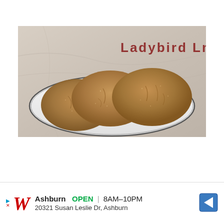[Figure (photo): Photo of several brown sugar cookies on a white plate with a dark rim, on a marble/granite countertop background. Text overlay in top right reads 'Ladybird Ln' in red/maroon distressed font.]
Ashburn  OPEN | 8AM–10PM
20321 Susan Leslie Dr, Ashburn